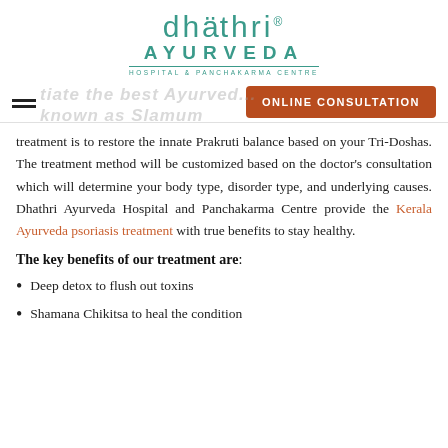[Figure (logo): Dhathri Ayurveda Hospital & Panchakarma Centre logo in teal/green color]
ONLINE CONSULTATION (button) | hamburger menu
treatment is to restore the innate Prakruti balance based on your Tri-Doshas. The treatment method will be customized based on the doctor's consultation which will determine your body type, disorder type, and underlying causes. Dhathri Ayurveda Hospital and Panchakarma Centre provide the Kerala Ayurveda psoriasis treatment with true benefits to stay healthy.
The key benefits of our treatment are:
Deep detox to flush out toxins
Shamana Chikitsa to heal the condition